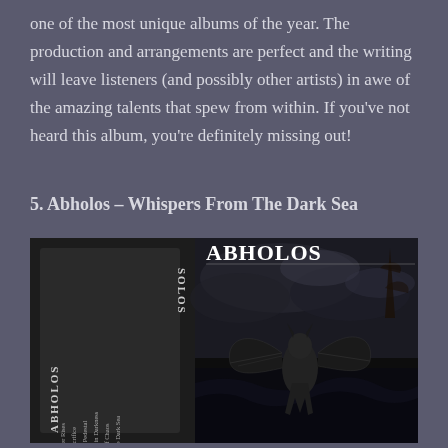one of the most unique albums of the year. The production and arrangements are perfect and the writing will leave listeners (and possibly other artists) in awe of the amazing talents that spew from within. If you've not heard this album, you're definitely missing out!
5. Abholos – Whispers From The Dark Sea
[Figure (photo): Album cover for Abholos - Whispers From The Dark Sea. A black and white cassette tape on the left side showing track listing with gothic/black metal font (ABHOLOS vertically, tracks: I. As the Dark Water Rises, II. Awaiting the Sacrifice, III. Atop the Onyx Pedestal, IV. The Whisperer in Darkness, V. To the Throne of Chaos, VI. Succumb to the Dark Sea). On the right side, dark fantasy artwork showing a winged demon/creature over stormy seas with 'ABHOLOS' written in large ornate white gothic lettering at the top.]